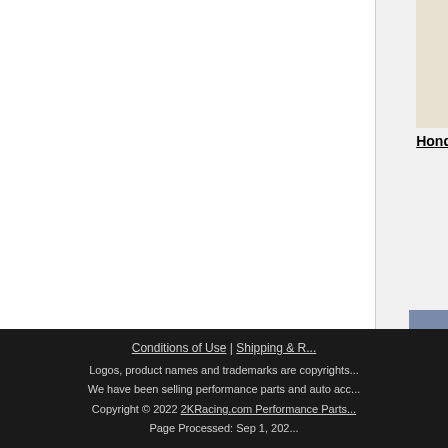[Figure (photo): Honda Civic OBX Performance Headers exhaust pipe product photo]
Honda Civic OBX Performance Headers
Price: $267.78
[Figure (photo): Honda Civic Projector Headlight product photo (partially cropped)]
Honda Civic Projector He...
w...
Price:...
[Figure (photo): Honda Civic Extreme Dimensions M3 Side Skirts product photo showing dark car]
Honda Civic Extreme Dimensions M3 Side Skirts
Price: $162.25
[Figure (photo): Honda Civic Sk... R 70mm... exhaust product photo (partially cropped)]
Honda Civic Sk...
R 70m...
Price:...
Conditions of Use | Shipping & R...
Logos, product names and trademarks are copyrights...
We have been selling performance parts and auto acc...
Copyright © 2022 2KRacing.com Performance Parts...
Page Processed: Sep 1, 202...